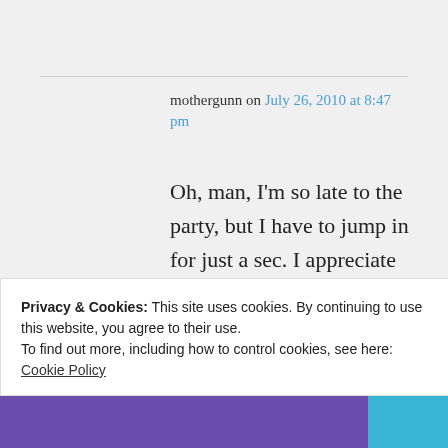mothergunn on July 26, 2010 at 8:47 pm
Oh, man, I'm so late to the party, but I have to jump in for just a sec. I appreciate how civil we've all been to
Privacy & Cookies: This site uses cookies. By continuing to use this website, you agree to their use. To find out more, including how to control cookies, see here: Cookie Policy
Close and accept